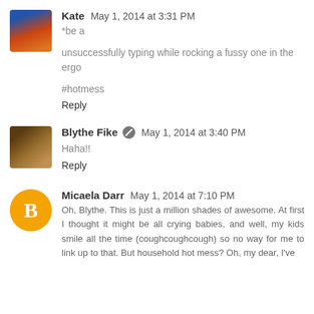Kate May 1, 2014 at 3:31 PM
*be a
unsuccessfully typing while rocking a fussy one in the ergo
#hotmess
Reply
Blythe Fike [mod] May 1, 2014 at 3:40 PM
Haha!!
Reply
Micaela Darr May 1, 2014 at 7:10 PM
Oh, Blythe. This is just a million shades of awesome. At first I thought it might be all crying babies, and well, my kids smile all the time (coughcoughcough) so no way for me to link up to that. But household hot mess? Oh, my dear, I've